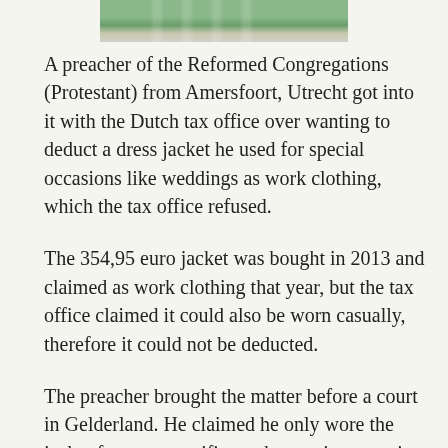[Figure (photo): Partial view of a building exterior with green lawn and a vehicle, appearing to be a church or institutional building]
A preacher of the Reformed Congregations (Protestant) from Amersfoort, Utrecht got into it with the Dutch tax office over wanting to deduct a dress jacket he used for special occasions like weddings as work clothing, which the tax office refused.
The 354,95 euro jacket was bought in 2013 and claimed as work clothing that year, but the tax office claimed it could also be worn casually, therefore it could not be deducted.
The preacher brought the matter before a court in Gelderland. He claimed he only wore the jacket for very specific work occasions, not in his spare time. The court also turned down his claim.
Not finished pleading his case, the preacher appealed